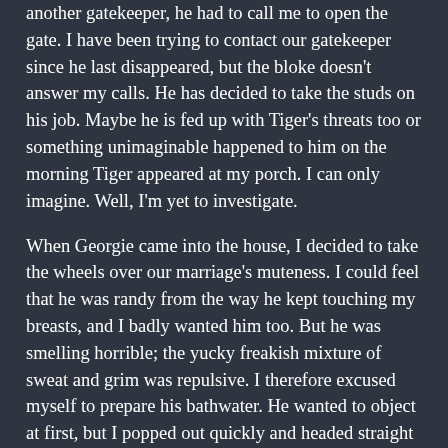another gatekeeper, he had to call me to open the gate. I have been trying to contact our gatekeeper since he last disappeared, but the bloke doesn't answer my calls. He has decided to take the studs on his job. Maybe he is fed up with Tiger's threats too or something unimaginable happened to him on the morning Tiger appeared at my porch. I can only imagine. Well, I'm yet to investigate.
When Georgie came into the house, I decided to take the wheels over our marriage's muteness. I could feel that he was randy from the way he kept touching my breasts, and I badly wanted him too. But he was smelling horrible; the yucky freakish mixture of sweat and grim was repulsive. I therefore excused myself to prepare his bathwater. He wanted to object at first, but I popped out quickly and headed straight to the kitchen.
“Oh, I'm going to have to install a boiler and bathtub